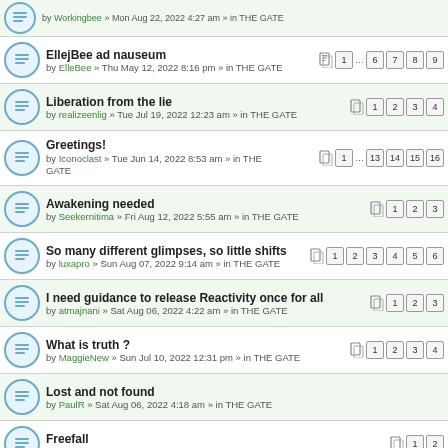EllejBee ad nauseum by ElleBee » Thu May 12, 2022 8:16 pm » in THE GATE [pages: 1...6 7 8 9]
Liberation from the lie by realizeenlig » Tue Jul 19, 2022 12:23 am » in THE GATE [pages: 1 2 3 4]
Greetings! by Iconoclast » Tue Jun 14, 2022 8:53 am » in THE GATE [pages: 1...13 14 15 16]
Awakening needed by Seekernitima » Fri Aug 12, 2022 5:55 am » in THE GATE [pages: 1 2 3]
So many different glimpses, so little shifts by luxapro » Sun Aug 07, 2022 9:14 am » in THE GATE [pages: 1 2 3 4 5 6]
I need guidance to release Reactivity once for all by atmajnani » Sat Aug 06, 2022 4:22 am » in THE GATE [pages: 1 2 3]
What is truth ? by MaggieNew » Sun Jul 10, 2022 12:31 pm » in THE GATE [pages: 1 2 3 4]
Lost and not found by PaulR » Sat Aug 06, 2022 4:18 am » in THE GATE
Freefall by Sharp » Sun Aug 21, 2022 10:40 am » in THE GATE [pages: 1 2]
Desire to Deepen My Inquiry by BrianB » Thu Aug 11, 2022 5:17 am » in THE GATE
To experience being This